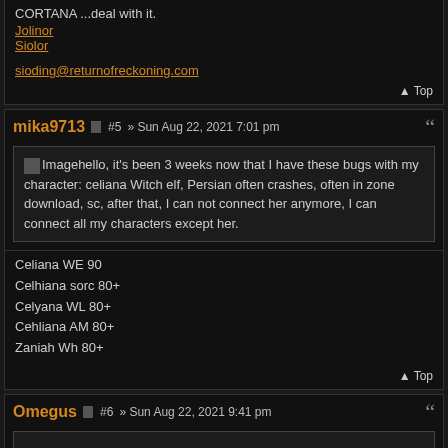Jolinor
Siolor
sioding@returnofreckoning.com
Top
mika9713 #5 » Sun Aug 22, 2021 7:01 pm
hello, it's been 3 weeks now that I have these bugs with my character: celiana Witch elf, Persian often crashes, often in zone download, sc, after that, I can not connect her anymore, I can connect all my characters except her.
Celiana WE 90
Celhiana sorc 80+
Celyana WL 80+
Cehliana AM 80+
Zaniah Wh 80+
Top
Omegus #6 » Sun Aug 22, 2021 9:41 pm